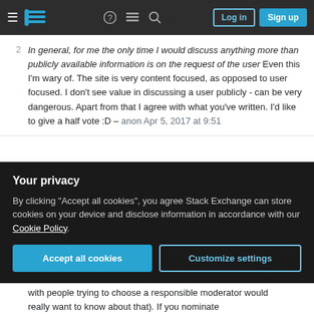Stack Exchange navigation header with Log in and Sign up buttons
2 In general, for me the only time I would discuss anything more than publicly available information is on the request of the user Even this I'm wary of. The site is very content focused, as opposed to user focused. I don't see value in discussing a user publicly - can be very dangerous. Apart from that I agree with what you've written. I'd like to give a half vote :D – anon Apr 5, 2017 at 9:51
3 I mean, if someone basically posted saying a mod decision was unfair publicly, we'd have to reply. Those situations tend to be rare and slightly ugly. Not fond of those at all – Journeyman Geek [Mod] Apr 5, 2017 at 9:58
Your privacy
By clicking "Accept all cookies", you agree Stack Exchange can store cookies on your device and disclose information in accordance with our Cookie Policy.
Accept all cookies    Customize settings
...with people trying to choose a responsible moderator would really want to know about that). If you nominate